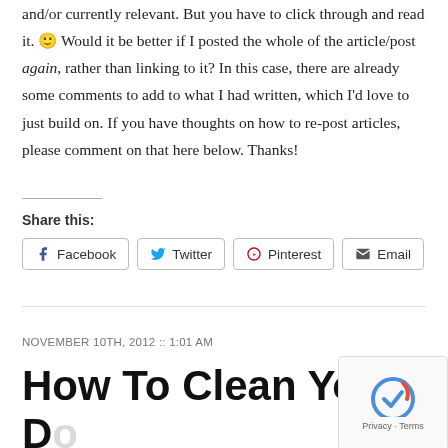and/or currently relevant. But you have to click through and read it. 🙂 Would it be better if I posted the whole of the article/post again, rather than linking to it? In this case, there are already some comments to add to what I had written, which I'd love to just build on. If you have thoughts on how to re-post articles, please comment on that here below. Thanks!
Share this:
Facebook  Twitter  Pinterest  Email
NOVEMBER 10TH, 2012 :: 1:01 AM
How To Clean Your Domsbille